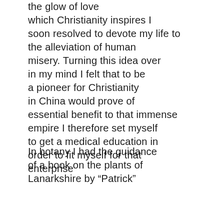the glow of love which Christianity inspires I soon resolved to devote my life to the alleviation of human misery. Turning this idea over in my mind I felt that to be a pioneer for Christianity in China would prove of essential benefit to that immense empire I therefore set myself to get a medical education in order to fit myself for that enterprise
In botany I had the guidance of a book on the plants of Lanarkshire by “Patrick”